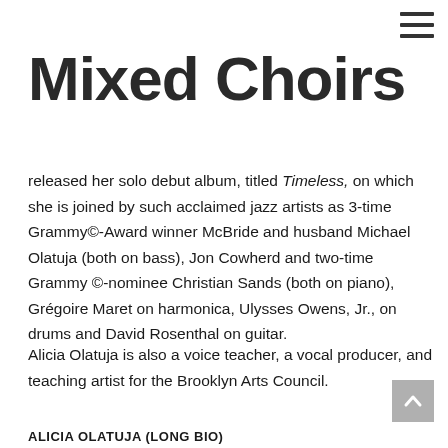Mixed Choirs
released her solo debut album, titled Timeless, on which she is joined by such acclaimed jazz artists as 3-time Grammy©-Award winner McBride and husband Michael Olatuja (both on bass), Jon Cowherd and two-time Grammy ©-nominee Christian Sands (both on piano), Grégoire Maret on harmonica, Ulysses Owens, Jr., on drums and David Rosenthal on guitar.
Alicia Olatuja is also a voice teacher, a vocal producer, and teaching artist for the Brooklyn Arts Council.
ALICIA OLATUJA (LONG BIO)